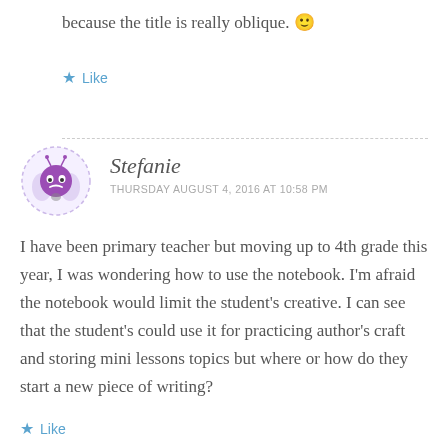because the title is really oblique. 🙂
★ Like
Stefanie
THURSDAY AUGUST 4, 2016 AT 10:58 PM
I have been primary teacher but moving up to 4th grade this year, I was wondering how to use the notebook. I'm afraid the notebook would limit the student's creative. I can see that the student's could use it for practicing author's craft and storing mini lessons topics but where or how do they start a new piece of writing?
★ Like